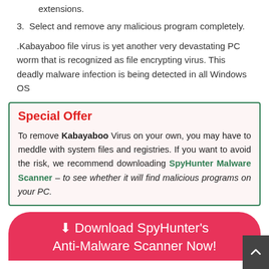extensions.
3. Select and remove any malicious program completely.
.Kabayaboo file virus is yet another very devastating PC worm that is recognized as file encrypting virus. This deadly malware infection is being detected in all Windows OS
Special Offer
To remove Kabayaboo Virus on your own, you may have to meddle with system files and registries. If you want to avoid the risk, we recommend downloading SpyHunter Malware Scanner – to see whether it will find malicious programs on your PC.
⬇ Download SpyHunter's Anti-Malware Scanner Now!